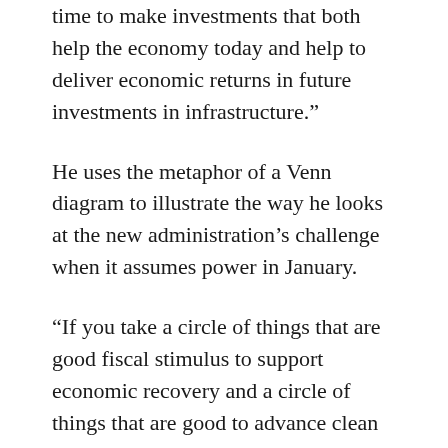time to make investments that both help the economy today and help to deliver economic returns in future investments in infrastructure.”
He uses the metaphor of a Venn diagram to illustrate the way he looks at the new administration’s challenge when it assumes power in January.
“If you take a circle of things that are good fiscal stimulus to support economic recovery and a circle of things that are good to advance clean energy, there is certainly overlap with, for example, investment and support for renewable energy, and building infrastructure